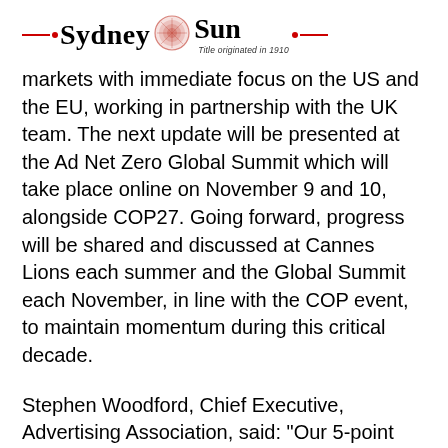Sydney Sun • Title originated in 1910
markets with immediate focus on the US and the EU, working in partnership with the UK team. The next update will be presented at the Ad Net Zero Global Summit which will take place online on November 9 and 10, alongside COP27. Going forward, progress will be shared and discussed at Cannes Lions each summer and the Global Summit each November, in line with the COP event, to maintain momentum during this critical decade.
Stephen Woodford, Chief Executive, Advertising Association, said: "Our 5-point action plan pledges to reduce carbon emissions from UK advertising operations to net zero by 2030, with businesses committing to robust, verified plans to reduce their emissions. It also pledges to use advertising's power to accelerate the switch to a more sustainable..."